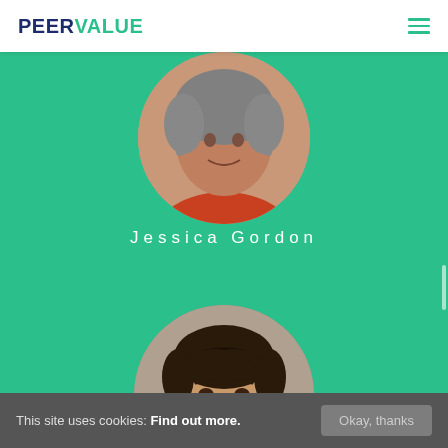PEERVALUE
[Figure (photo): Circular profile photo of Jessica Gordon, a woman with curly gray hair and earrings, wearing an orange patterned top, partially cropped at top]
Jessica Gordon
[Figure (photo): Circular profile photo of a young man with dark hair, beard stubble, partially visible at bottom of page]
This site uses cookies: Find out more.
Okay, thanks